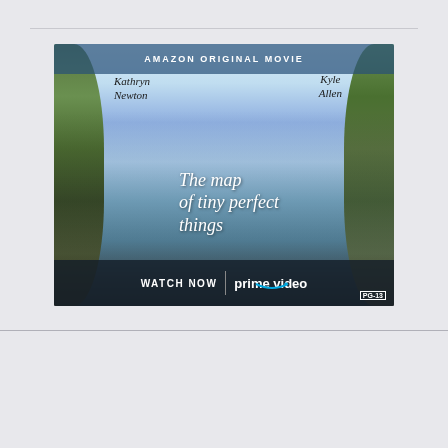[Figure (photo): Amazon Prime Video movie poster for 'The Map of Tiny Perfect Things' featuring Kathryn Newton and Kyle Allen. Text reads: AMAZON ORIGINAL MOVIE, Kathryn Newton, Kyle Allen, The map of tiny perfect things, WATCH NOW | prime video, PG-13]
← Previous
The Best Science Fiction Shows fr
The Worst Mystery Series from 20